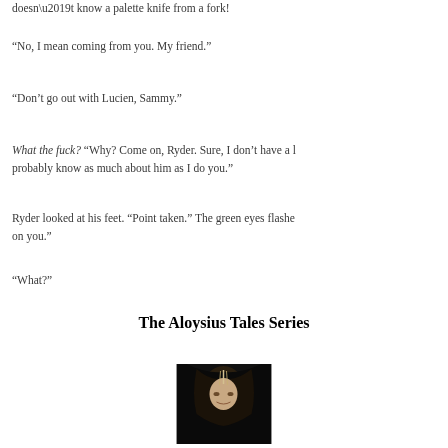doesn’t know a palette knife from a fork!
“No, I mean coming from you. My friend.”
“Don’t go out with Lucien, Sammy.”
What the fuck? “Why? Come on, Ryder. Sure, I don’t have a l probably know as much about him as I do you.”
Ryder looked at his feet. “Point taken.” The green eyes flashe on you.”
“What?”
The Aloysius Tales Series
[Figure (photo): A close-up photo of a person with dark hair, partially visible face, dark background]